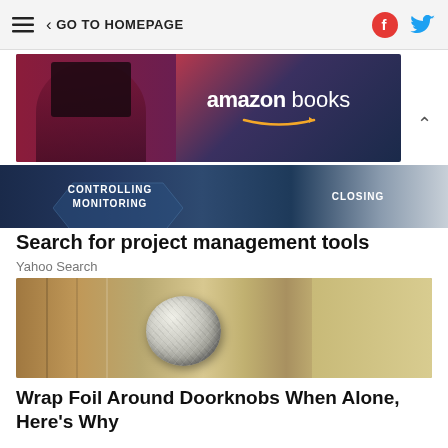≡  < GO TO HOMEPAGE
[Figure (illustration): Amazon Books advertisement banner showing a person reading a book with 'amazon books' logo in white text on dark background]
[Figure (infographic): Dark banner ad with text 'CONTROLLING MONITORING' and 'CLOSING' with geometric shapes]
Search for project management tools
Yahoo Search
[Figure (photo): Close-up photo of a door knob wrapped in aluminum foil, set against a wooden door]
Wrap Foil Around Doorknobs When Alone, Here's Why